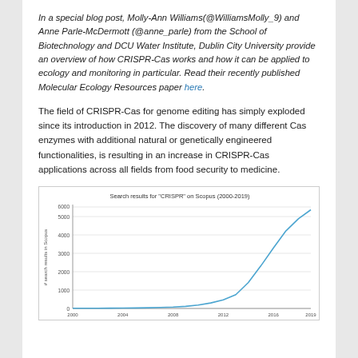In a special blog post, Molly-Ann Williams(@WilliamsMolly_9) and Anne Parle-McDermott (@anne_parle) from the School of Biotechnology and DCU Water Institute, Dublin City University provide an overview of how CRISPR-Cas works and how it can be applied to ecology and monitoring in particular. Read their recently published Molecular Ecology Resources paper here.
The field of CRISPR-Cas for genome editing has simply exploded since its introduction in 2012. The discovery of many different Cas enzymes with additional natural or genetically engineered functionalities, is resulting in an increase in CRISPR-Cas applications across all fields from food security to medicine.
[Figure (line-chart): Search results for "CRISPR" on Scopus (2000-2019)]